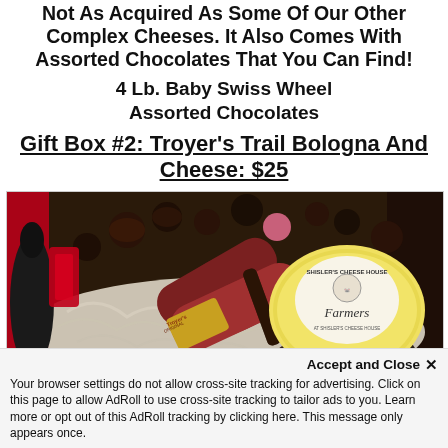Not As Acquired As Some Of Our Other Complex Cheeses. It Also Comes With Assorted Chocolates That You Can Find!
4 Lb. Baby Swiss Wheel
Assorted Chocolates
Gift Box #2: Troyer's Trail Bologna And Cheese: $25
[Figure (photo): A gift box open top view showing Troyer's bologna sausages, a Shisler's Cheese House Farmers cheese wheel, assorted chocolates, and decorative shredded paper filling.]
Accept and Close ×
Your browser settings do not allow cross-site tracking for advertising. Click on this page to allow AdRoll to use cross-site tracking to tailor ads to you. Learn more or opt out of this AdRoll tracking by clicking here. This message only appears once.